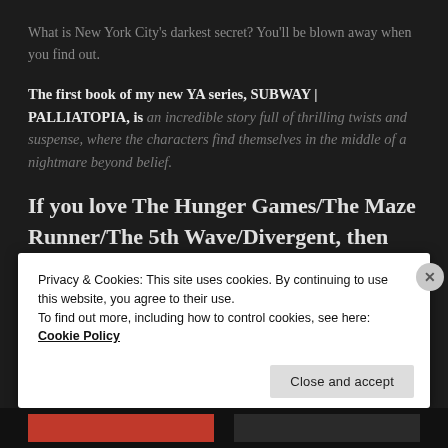What is New York City's darkest secret? You'll be blown away when you find out.
The first book of my new YA series, SUBWAY | PALLIATOPIA, is an incredible story full of thrilling twists and suspense, where the characters find themselves in the middle of a nightmare beyond belief.
If you love The Hunger Games/The Maze Runner/The 5th Wave/Divergent, then you won't be able to resist SUBWAY | PALLIATOPIA
Privacy & Cookies: This site uses cookies. By continuing to use this website, you agree to their use. To find out more, including how to control cookies, see here: Cookie Policy
Close and accept